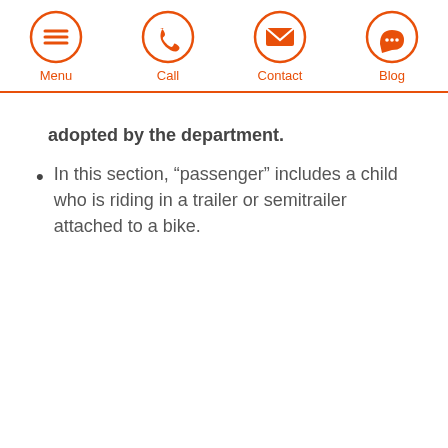Menu | Call | Contact | Blog
adopted by the department.
In this section, “passenger” includes a child who is riding in a trailer or semitrailer attached to a bike.